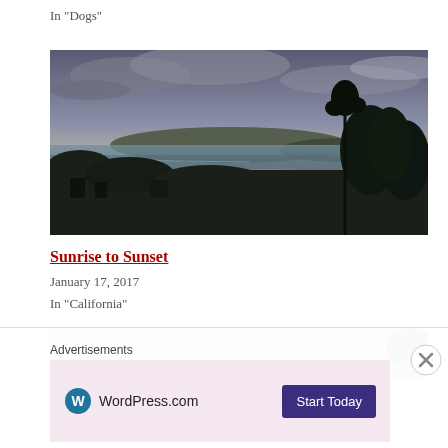In "Dogs"
[Figure (photo): Aerial sunset view of a coastal bay with hills, boats in the water, trees in the foreground silhouetted against a golden sky with clouds]
Sunrise to Sunset
January 17, 2017
In "California"
[Figure (photo): Partial view of another photo, appears to show a coastline or water scene, cropped at bottom]
Advertisements
[Figure (logo): WordPress.com advertisement banner with WordPress logo and 'Start Today' button on pink background]